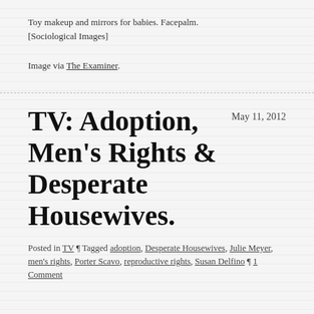Toy makeup and mirrors for babies. Facepalm. [Sociological Images]
Image via The Examiner.
TV: Adoption, Men’s Rights & Desperate Housewives.
May 11, 2012
Posted in TV ¶ Tagged adoption, Desperate Housewives, Julie Meyer, men’s rights, Porter Scavo, reproductive rights, Susan Delfino ¶ 1 Comment